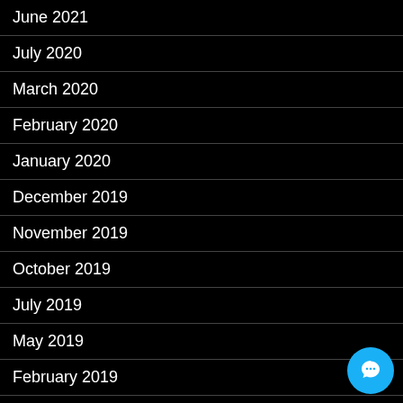June 2021
July 2020
March 2020
February 2020
January 2020
December 2019
November 2019
October 2019
July 2019
May 2019
February 2019
July 2018
May 2018